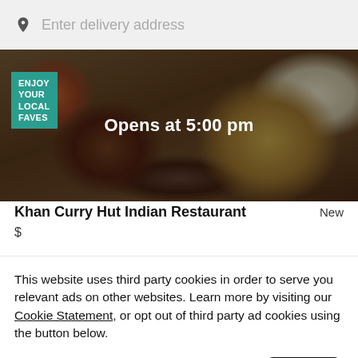Enter delivery address
[Figure (screenshot): Restaurant banner image showing Indian food dishes with dark overlay. Text reads 'Opens at 5:00 pm' centered in white bold font. Green badge in top-left reads 'ENJOY YOUR LOCAL FAVES'.]
Khan Curry Hut Indian Restaurant
New
$
This website uses third party cookies in order to serve you relevant ads on other websites. Learn more by visiting our Cookie Statement, or opt out of third party ad cookies using the button below.
Opt out
Got it